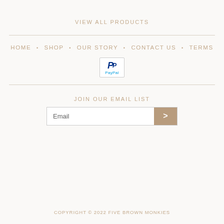VIEW ALL PRODUCTS
HOME • SHOP • OUR STORY • CONTACT US • TERMS
[Figure (logo): PayPal payment logo in a bordered box]
JOIN OUR EMAIL LIST
Email
COPYRIGHT © 2022 FIVE BROWN MONKIES